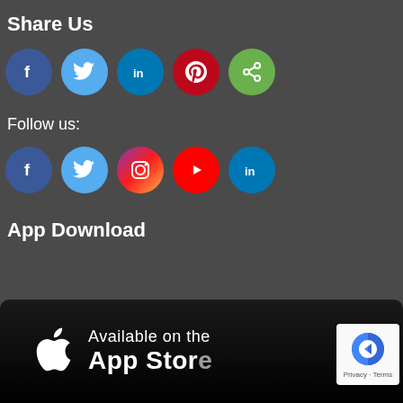Share Us
[Figure (infographic): Row of 5 social share icon circles: Facebook (dark blue), Twitter (light blue), LinkedIn (blue), Pinterest (red), Share (green)]
Follow us:
[Figure (infographic): Row of 5 social follow icon circles: Facebook (dark blue), Twitter (light blue), Instagram (magenta/purple), YouTube (red), LinkedIn (blue)]
App Download
[Figure (screenshot): App Store download banner with Apple logo, text 'Available on the App Store']
[Figure (logo): reCAPTCHA badge with reCAPTCHA logo and 'Privacy · Terms' text]